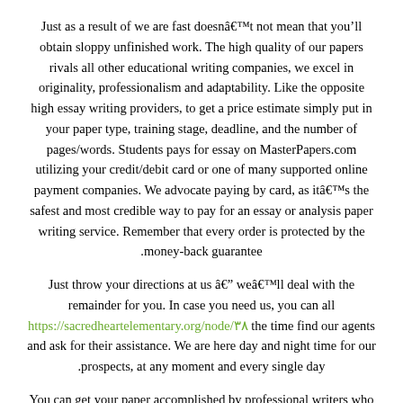Just as a result of we are fast doesnât not mean that you’ll obtain sloppy unfinished work. The high quality of our papers rivals all other educational writing companies, we excel in originality, professionalism and adaptability. Like the opposite high essay writing providers, to get a price estimate simply put in your paper type, training stage, deadline, and the number of pages/words. Students pays for essay on MasterPapers.com utilizing your credit/debit card or one of many supported online payment companies. We advocate paying by card, as itâচs the safest and most credible way to pay for an essay or analysis paper writing service. Remember that every order is protected by the money-back guarantee.
Just throw your directions at us â weâll deal with the remainder for you. In case you need us, you can all https://sacredheartelementary.org/node/۳۸ the time find our agents and ask for their assistance. We are here day and night time for our prospects, at any moment and every single day.
You can get your paper accomplished by professional writers who hold a degree within the topic you select. If youâre worried about your identity, you can stay nameless and still get your essay delivered by